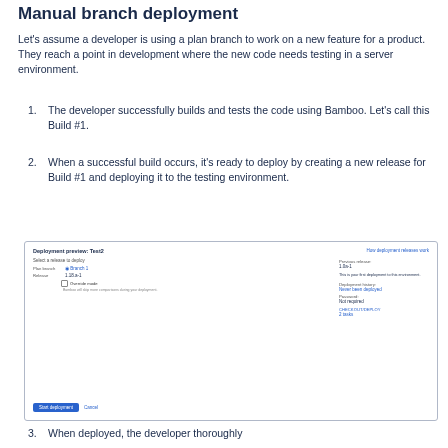Manual branch deployment
Let's assume a developer is using a plan branch to work on a new feature for a product. They reach a point in development where the new code needs testing in a server environment.
The developer successfully builds and tests the code using Bamboo. Let's call this Build #1.
When a successful build occurs, it's ready to deploy by creating a new release for Build #1 and deploying it to the testing environment.
[Figure (screenshot): Screenshot of a Bamboo 'Deployment preview: Test2' dialog showing fields to select a release to deploy (Plan branch: Branch 1, Release: 1.18.a-1, Override mode checkbox), deployment details on the right (Previous release: 1.0a-1, This is your first deployment to this environment, Deployment history: Never been deployed, Password: Not required, CHECKOUT/DEPLOY: 2 tasks), and a 'Start deployment' button and Cancel link at the bottom.]
When deployed, the developer thoroughly